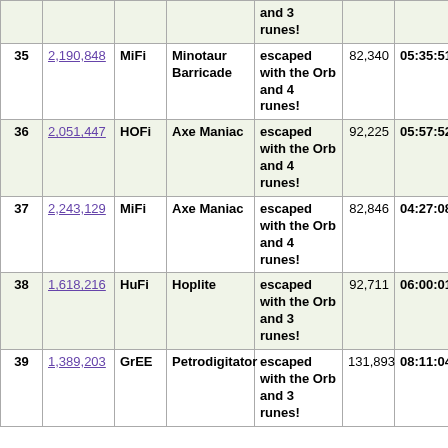| # | Score | Char | Title | Outcome | Turns | Duration |
| --- | --- | --- | --- | --- | --- | --- |
|  |  |  |  | and 3 runes! |  |  |
| 35 | 2,190,848 | MiFi | Minotaur Barricade | escaped with the Orb and 4 runes! | 82,340 | 05:35:51 |
| 36 | 2,051,447 | HOFi | Axe Maniac | escaped with the Orb and 4 runes! | 92,225 | 05:57:52 |
| 37 | 2,243,129 | MiFi | Axe Maniac | escaped with the Orb and 4 runes! | 82,846 | 04:27:08 |
| 38 | 1,618,216 | HuFi | Hoplite | escaped with the Orb and 3 runes! | 92,711 | 06:00:01 |
| 39 | 1,389,203 | GrEE | Petrodigitator | escaped with the Orb and 3 runes! | 131,893 | 08:11:04 |